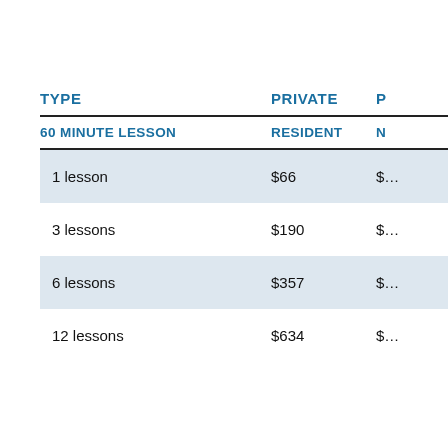| TYPE | PRIVATE | P |
| --- | --- | --- |
| 1 lesson | $66 | $… |
| 3 lessons | $190 | $… |
| 6 lessons | $357 | $… |
| 12 lessons | $634 | $… |